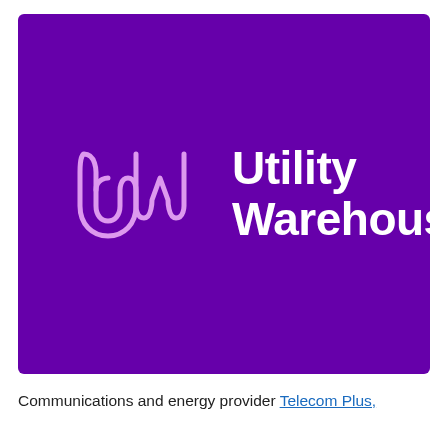[Figure (logo): Utility Warehouse (UW) logo on a deep purple background. The logo consists of a stylized 'UW' monogram in pink/light purple outline on the left, followed by white bold text reading 'Utility Warehouse' on two lines.]
Communications and energy provider Telecom Plus,